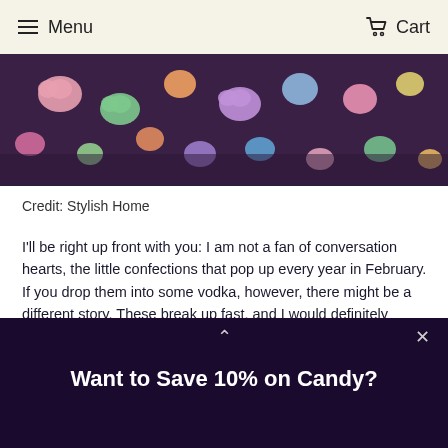Menu   Cart
[Figure (photo): Close-up photo of colorful candy conversation hearts in shades of pink, purple, green, orange, and blue scattered together]
Credit: Stylish Home
I'll be right up front with you: I am not a fan of conversation hearts, the little confections that pop up every year in February. If you drop them into some vodka, however, there might be a different story. These break up fast, and I would definitely recommend straining them, but otherwise they seem to make a perfectly sweet and pretty looking vodka. As always, make sure to separate colors.
Get the recipe at Stylish Home — site is down :( .
Want to Save 10% on Candy?